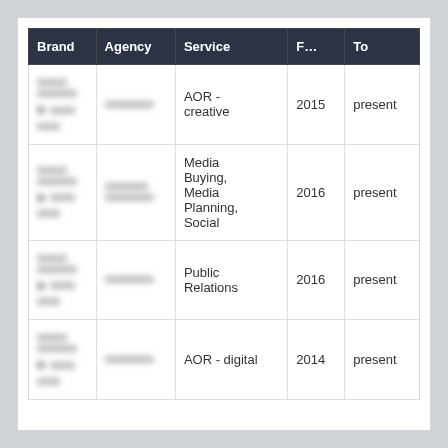| Brand | Agency | Service | F... | To |
| --- | --- | --- | --- | --- |
| [redacted] | [redacted] | AOR - creative | 2015 | present |
| [redacted] | [redacted] | Media Buying, Media Planning, Social | 2016 | present |
| [redacted] | [redacted] | Public Relations | 2016 | present |
| [redacted] | [redacted] | AOR - digital | 2014 | present |